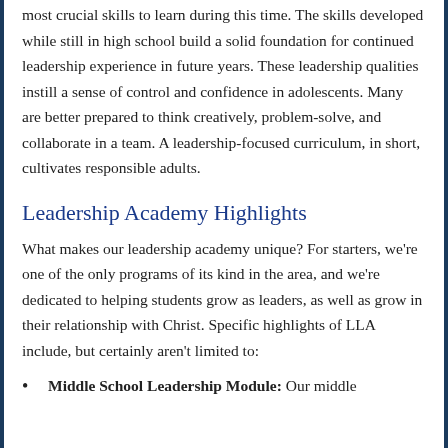most crucial skills to learn during this time. The skills developed while still in high school build a solid foundation for continued leadership experience in future years. These leadership qualities instill a sense of control and confidence in adolescents. Many are better prepared to think creatively, problem-solve, and collaborate in a team. A leadership-focused curriculum, in short, cultivates responsible adults.
Leadership Academy Highlights
What makes our leadership academy unique? For starters, we're one of the only programs of its kind in the area, and we're dedicated to helping students grow as leaders, as well as grow in their relationship with Christ. Specific highlights of LLA include, but certainly aren't limited to:
Middle School Leadership Module: Our middle